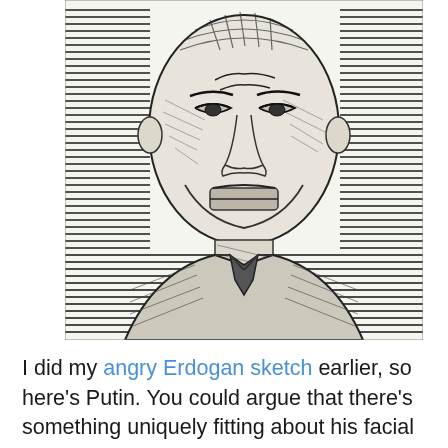[Figure (illustration): A black and white ink sketch/caricature of a person (Putin) showing a bald or short-haired figure with intense expression, prominent forehead, squinting eyes, and set jaw. The background has horizontal hatching lines suggesting a striped pattern. The figure wears what appears to be a suit with a tie.]
I did my angry Erdogan sketch earlier, so here's Putin. You could argue that there's something uniquely fitting about his facial